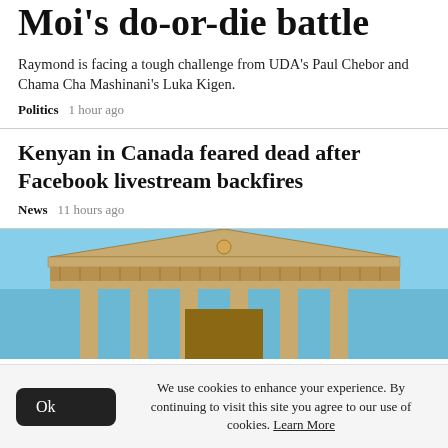Moi's do-or-die battle
Raymond is facing a tough challenge from UDA's Paul Chebor and Chama Cha Mashinani's Luka Kigen.
Politics   1 hour ago
Kenyan in Canada feared dead after Facebook livestream backfires
News   11 hours ago
[Figure (photo): Photograph of a classical building facade with a triangular pediment and columns against a blue sky.]
We use cookies to enhance your experience. By continuing to visit this site you agree to our use of cookies. Learn More